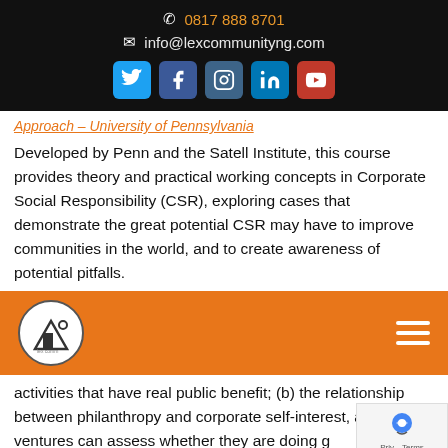📞 0817 888 8701
✉ info@lexcommunityng.com
Approach – University of Pennsylvania
Developed by Penn and the Satell Institute, this course provides theory and practical working concepts in Corporate Social Responsibility (CSR), exploring cases that demonstrate the great potential CSR may have to improve communities in the world, and to create awareness of potential pitfalls.
activities that have real public benefit; (b) the relationship between philanthropy and corporate self-interest, and how ventures can assess whether they are doing good CSR, exploring topics including measurement, attribution,